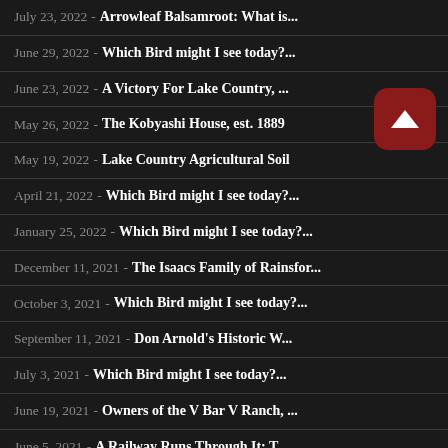July 23, 2022 - Arrowleaf Balsamroot: What is...
June 29, 2022 - Which Bird might I see today?...
June 23, 2022 - A Victory For Lake Country, ...
May 26, 2022 - The Kobyashi House, est. 1889
May 19, 2022 - Lake Country Agricultural Soil
April 21, 2022 - Which Bird might I see today?...
January 25, 2022 - Which Bird might I see today?...
December 11, 2021 - The Isaacs Family of Rainsfor...
October 3, 2021 - Which Bird might I see today?...
September 11, 2021 - Don Arnold's Historic W...
July 3, 2021 - Which Bird might I see today?...
June 19, 2021 - Owners of the V Bar V Ranch, ...
June 5, 2021 - A Railway Runs Through It: T...
May 22, 2021 - Owners of the V Bar V Ranch, ...
April 2021 - The Chatterton family in Lake...